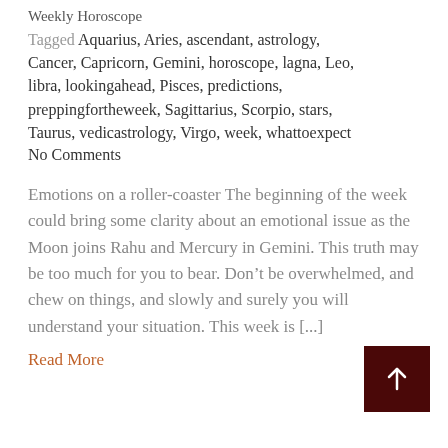Weekly Horoscope
Tagged Aquarius, Aries, ascendant, astrology, Cancer, Capricorn, Gemini, horoscope, lagna, Leo, libra, lookingahead, Pisces, predictions, preppingfortheweek, Sagittarius, Scorpio, stars, Taurus, vedicastrology, Virgo, week, whattoexpect
No Comments
Emotions on a roller-coaster The beginning of the week could bring some clarity about an emotional issue as the Moon joins Rahu and Mercury in Gemini. This truth may be too much for you to bear. Don’t be overwhelmed, and chew on things, and slowly and surely you will understand your situation. This week is [...]
Read More